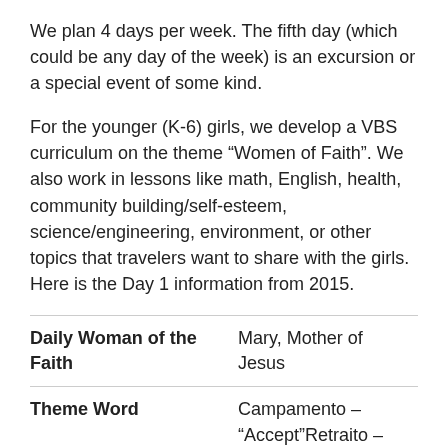We plan 4 days per week. The fifth day (which could be any day of the week) is an excursion or a special event of some kind.
For the younger (K-6) girls, we develop a VBS curriculum on the theme “Women of Faith”. We also work in lessons like math, English, health, community building/self-esteem, science/engineering, environment, or other topics that travelers want to share with the girls. Here is the Day 1 information from 2015.
|  |  |
| --- | --- |
| Daily Woman of the Faith | Mary, Mother of Jesus |
| Theme Word | Campamento – “Accept”Retraito – “Vision” |